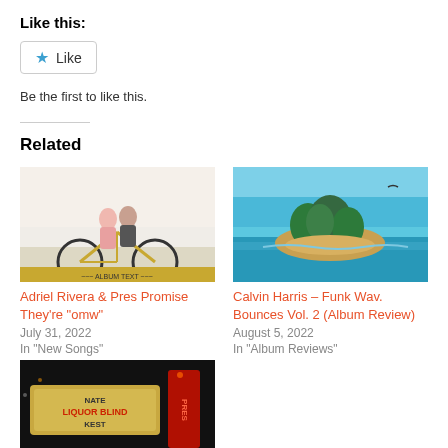Like this:
Like
Be the first to like this.
Related
[Figure (photo): Album art showing two people on a bicycle, illustrated style]
Adriel Rivera & Pres Promise They're "omw"
July 31, 2022
In "New Songs"
[Figure (photo): Album cover showing a tropical island in the ocean with palm trees and blue sky]
Calvin Harris – Funk Wav. Bounces Vol. 2 (Album Review)
August 5, 2022
In "Album Reviews"
[Figure (photo): Dark background with a marquee sign reading NATE LIQUOR BLIND KEST]